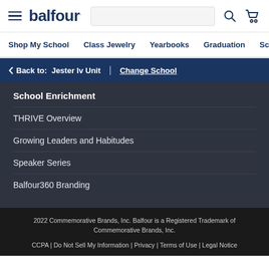balfour. | Shop My School | Class Jewelry | Yearbooks | Graduation | Sc...
< Back to: Jester Iv Unit | Change School
School Enrichment
THRIVE Overview
Growing Leaders and Habitudes
Speaker Series
Balfour360 Branding
2022 Commemorative Brands, Inc. Balfour is a Registered Trademark of Commemorative Brands, Inc.
CCPA | Do Not Sell My Information | Privacy | Terms of Use | Legal Notice